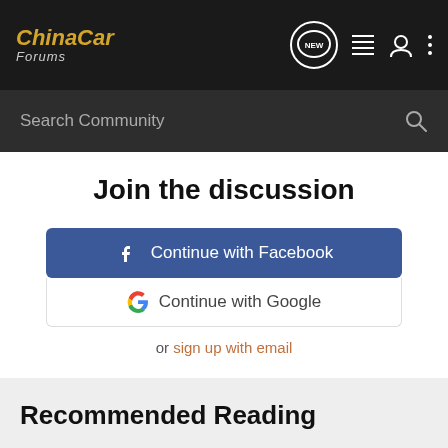ChinaCar Forums - Navigation bar with logo, NEW button, list icon, user icon, more icon
Search Community
Join the discussion
Continue with Facebook
Continue with Google
or sign up with email
Recommended Reading
Sichuan Nanjun (Ziyang) Automobile (CNJ) -